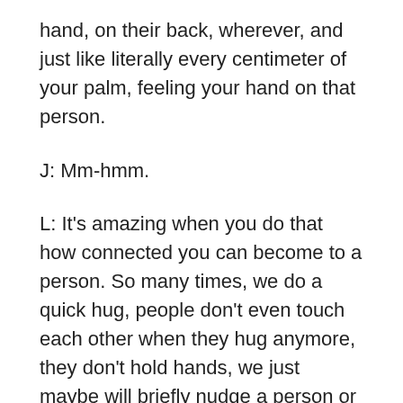hand, on their back, wherever, and just like literally every centimeter of your palm, feeling your hand on that person.
J: Mm-hmm.
L: It's amazing when you do that how connected you can become to a person. So many times, we do a quick hug, people don't even touch each other when they hug anymore, they don't hold hands, we just maybe will briefly nudge a person or something. But if you can put your whole palm on someone's body somehow in a safe, gentle way and feel that and let them feel that, it is really